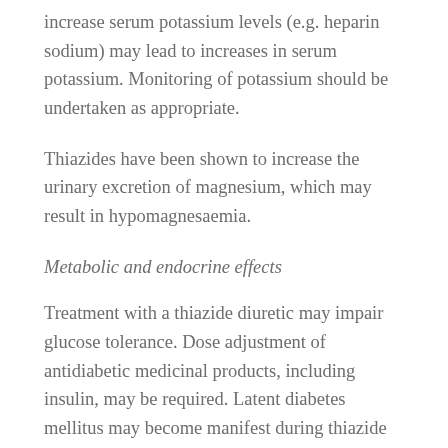increase serum potassium levels (e.g. heparin sodium) may lead to increases in serum potassium. Monitoring of potassium should be undertaken as appropriate.
Thiazides have been shown to increase the urinary excretion of magnesium, which may result in hypomagnesaemia.
Metabolic and endocrine effects
Treatment with a thiazide diuretic may impair glucose tolerance. Dose adjustment of antidiabetic medicinal products, including insulin, may be required. Latent diabetes mellitus may become manifest during thiazide therapy. Increases in cholesterol and triglyceride levels have been